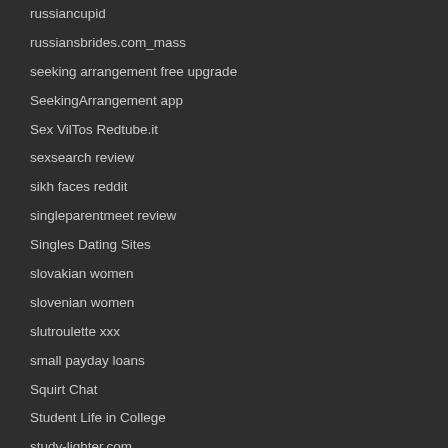russiancupid
russiansbrides.com_mass
seeking arrangement free upgrade
SeekingArrangement app
Sex VilTos Redtube.it
sexsearch review
sikh faces reddit
singleparentmeet review
Singles Dating Sites
slovakian women
slovenian women
slutroulette xxx
small payday loans
Squirt Chat
Student Life in College
study-lighter.com
Sugarbook reviews